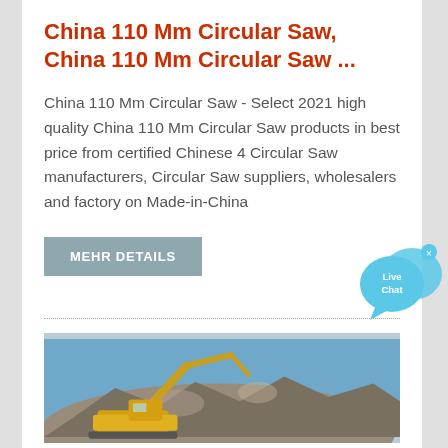China 110 Mm Circular Saw, China 110 Mm Circular Saw ...
China 110 Mm Circular Saw - Select 2021 high quality China 110 Mm Circular Saw products in best price from certified Chinese 4 Circular Saw manufacturers, Circular Saw suppliers, wholesalers and factory on Made-in-China
MEHR DETAILS
[Figure (photo): Photograph of a yellow excavator working on a pile of rubble/rocks against a blue sky]